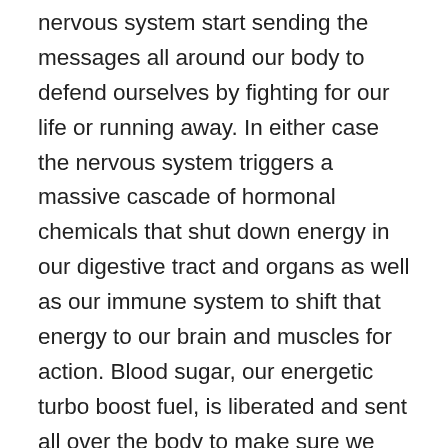nervous system start sending the messages all around our body to defend ourselves by fighting for our life or running away. In either case the nervous system triggers a massive cascade of hormonal chemicals that shut down energy in our digestive tract and organs as well as our immune system to shift that energy to our brain and muscles for action. Blood sugar, our energetic turbo boost fuel, is liberated and sent all over the body to make sure we can do what ever we need to do to get through this threat. Once we take the needed action our body starts to shift it’s tone from the sympathetic stress mode to the parasympathetic healing mode. As this mode becomes more dominant we adjust our breathing, our energy returns to